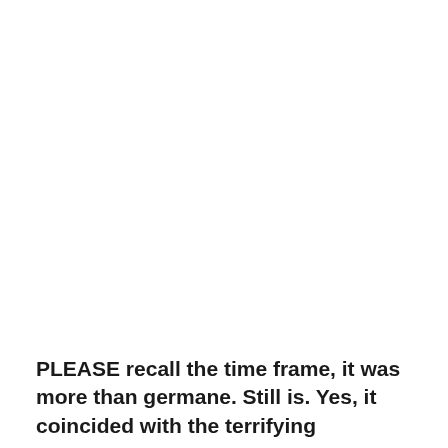PLEASE recall the time frame, it was more than germane. Still is. Yes, it coincided with the terrifying